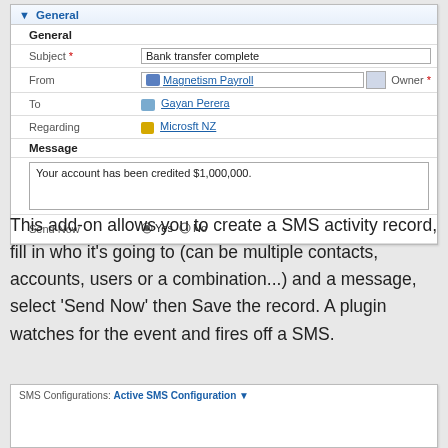[Figure (screenshot): A CRM form panel titled 'General' with fields: Subject (Bank transfer complete), From (Magnetism Payroll with Owner label), To (Gayan Perera), Regarding (Microsft NZ), Message section with text area ('Your account has been credited $1,000,000.'), and Send Now radio buttons (Yes selected, No).]
This add-on allows you to create a SMS activity record, fill in who it's going to (can be multiple contacts, accounts, users or a combination...) and a message, select 'Send Now' then Save the record. A plugin watches for the event and fires off a SMS.
[Figure (screenshot): Bottom panel showing 'SMS Configurations: Active SMS Configuration •']